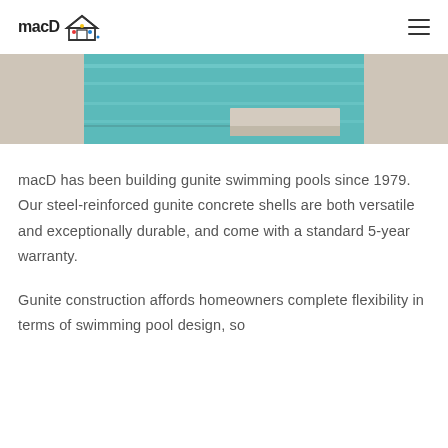macD (logo with house icon and hamburger menu)
[Figure (photo): Partial view of a modern gunite swimming pool with turquoise water, a concrete slab edge, and beige stone surround]
macD has been building gunite swimming pools since 1979. Our steel-reinforced gunite concrete shells are both versatile and exceptionally durable, and come with a standard 5-year warranty.
Gunite construction affords homeowners complete flexibility in terms of swimming pool design, so